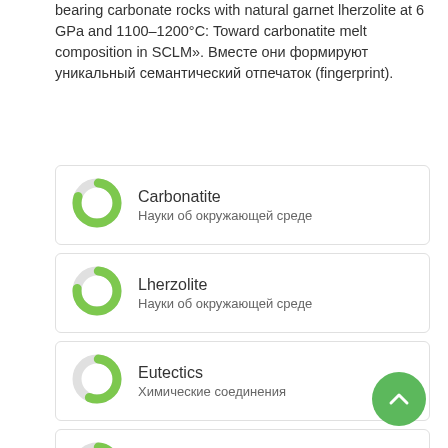bearing carbonate rocks with natural garnet lherzolite at 6 GPa and 1100–1200°C: Toward carbonatite melt composition in SCLM». Вместе они формируют уникальный семантический отпечаток (fingerprint).
Carbonatite — Науки об окружающей среде
Lherzolite — Науки об окружающей среде
Eutectics — Химические соединения
Garnet — Науки об окружающей среде
Carbonate — Химические соединения
Mantle — Науки об окружающей среде